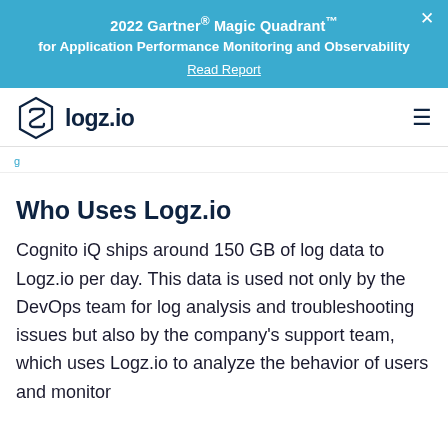2022 Gartner® Magic Quadrant™ for Application Performance Monitoring and Observability
Read Report
[Figure (logo): logz.io logo — hexagonal box icon with stylized 'S' shape inside, followed by bold text 'logz.io']
Who Uses Logz.io
Cognito iQ ships around 150 GB of log data to Logz.io per day. This data is used not only by the DevOps team for log analysis and troubleshooting issues but also by the company's support team, which uses Logz.io to analyze the behavior of users and monitor